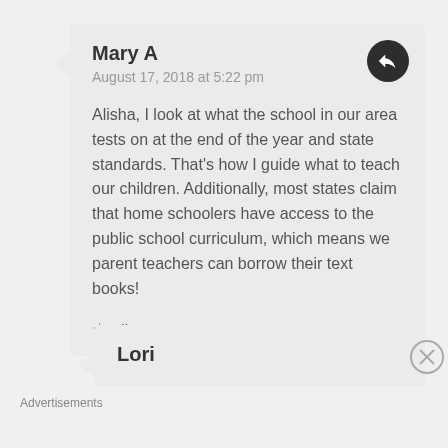Mary A
August 17, 2018 at 5:22 pm
Alisha, I look at what the school in our area tests on at the end of the year and state standards. That's how I guide what to teach our children. Additionally, most states claim that home schoolers have access to the public school curriculum, which means we parent teachers can borrow their text books!
Like
Lori
Advertisements